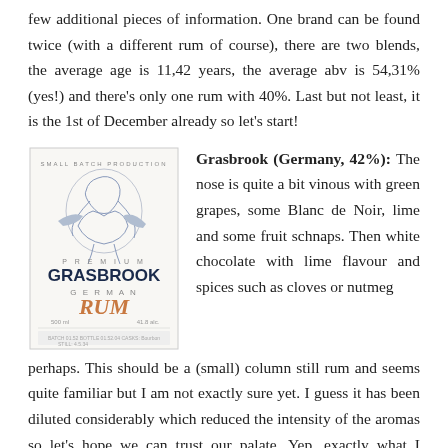few additional pieces of information. One brand can be found twice (with a different rum of course), there are two blends, the average age is 11,42 years, the average abv is 54,31% (yes!) and there's only one rum with 40%. Last but not least, it is the 1st of December already so let's start!
[Figure (illustration): Grasbrook German Rum bottle label showing a small batch production premium rum with illustrated figures on the label, 500ml, 41.8% alc]
Grasbrook (Germany, 42%): The nose is quite a bit vinous with green grapes, some Blanc de Noir, lime and some fruit schnaps. Then white chocolate with lime flavour and spices such as cloves or nutmeg perhaps. This should be a (small) column still rum and seems quite familiar but I am not exactly sure yet. I guess it has been diluted considerably which reduced the intensity of the aromas so let's hope we can trust our palate. Yep, exactly what I thought. The rum didn't really tolerate the dilution (so